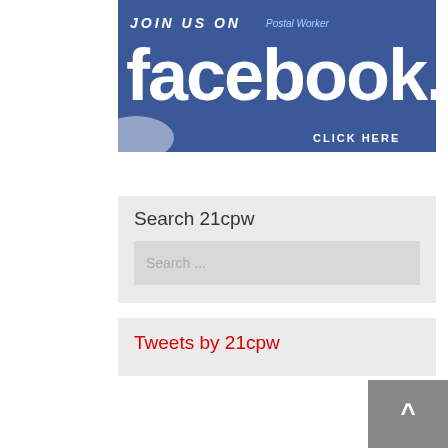[Figure (screenshot): Facebook banner ad with blue background. Top text: 'JOIN US ON' in white bold italic uppercase, with 'Postal Worker' in light blue italic on the right. Large 'facebook.' text in white bold. Bottom right: 'CLICK HERE' in white uppercase. Light glow in bottom left corner.]
Search 21cpw
Search ...
Tweets by 21cpw
[Figure (other): Back to top button: dark grey square with white upward caret/arrow symbol]